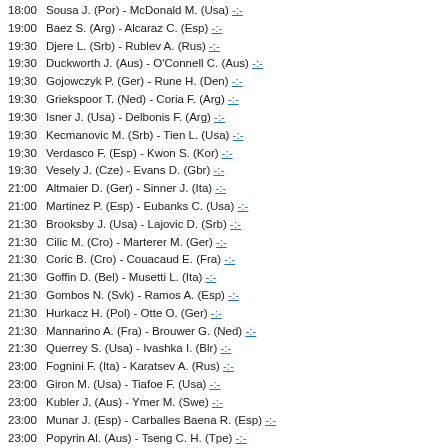18:00  Sousa J. (Por) - McDonald M. (Usa) -:-
19:00  Baez S. (Arg) - Alcaraz C. (Esp) -:-
19:30  Djere L. (Srb) - Rublev A. (Rus) -:-
19:30  Duckworth J. (Aus) - O'Connell C. (Aus) -:-
19:30  Gojowczyk P. (Ger) - Rune H. (Den) -:-
19:30  Griekspoor T. (Ned) - Coria F. (Arg) -:-
19:30  Isner J. (Usa) - Delbonis F. (Arg) -:-
19:30  Kecmanovic M. (Srb) - Tien L. (Usa) -:-
19:30  Verdasco F. (Esp) - Kwon S. (Kor) -:-
19:30  Vesely J. (Cze) - Evans D. (Gbr) -:-
21:00  Altmaier D. (Ger) - Sinner J. (Ita) -:-
21:00  Martinez P. (Esp) - Eubanks C. (Usa) -:-
21:30  Brooksby J. (Usa) - Lajovic D. (Srb) -:-
21:30  Cilic M. (Cro) - Marterer M. (Ger) -:-
21:30  Coric B. (Cro) - Couacaud E. (Fra) -:-
21:30  Goffin D. (Bel) - Musetti L. (Ita) -:-
21:30  Gombos N. (Svk) - Ramos A. (Esp) -:-
21:30  Hurkacz H. (Pol) - Otte O. (Ger) -:-
21:30  Mannarino A. (Fra) - Brouwer G. (Ned) -:-
21:30  Querrey S. (Usa) - Ivashka I. (Blr) -:-
23:00  Fognini F. (Ita) - Karatsev A. (Rus) -:-
23:00  Giron M. (Usa) - Tiafoe F. (Usa) -:-
23:00  Kubler J. (Aus) - Ymer M. (Swe) -:-
23:00  Munar J. (Esp) - Carballes Baena R. (Esp) -:-
23:00  Popyrin Al. (Aus) - Tseng C. H. (Tpe) -:-
23:00  Shapovalov D. (Can) - Huesler M. (Sui) -:-
WTA - SIMPLU: US Open (SUA), suprafață dură
23:10  Parry D. (Fra) - Wang Xiy. (Chn) 1:2
23:15  Keys M. (Usa) - Yastremska D. (Ukr) 2:0